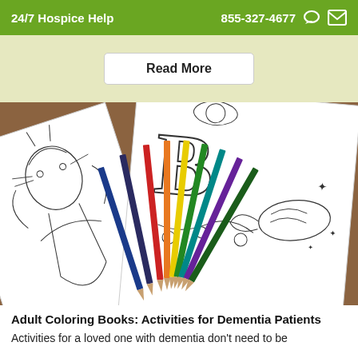24/7 Hospice Help   855-327-4677
Read More
[Figure (photo): Adult coloring book pages spread out on a wooden table with colored pencils fanned out on top. The coloring pages show intricate black and white line art including a decorative bird with floral patterns and an ornate letter B, along with a figure scene on the left page.]
Adult Coloring Books: Activities for Dementia Patients
Activities for a loved one with dementia don't need to be